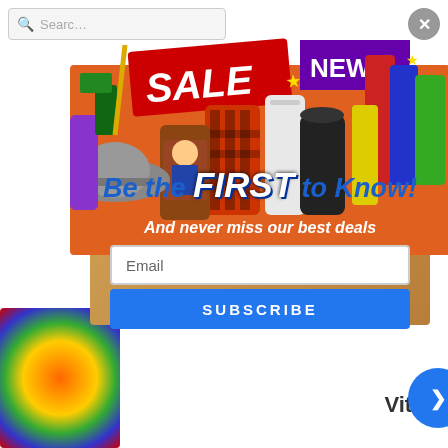[Figure (screenshot): A website popup/modal overlay showing a promotional email signup. The popup features a cardboard box overflowing with products (hats, tumblers, vinyl rolls, a SALE banner, NEW pennant, question mark boxes). Text reads 'Be the FIRST to Know! And never miss our best deals' with an email input field and a SUBSCRIBE button. Behind the popup is a partial webpage with a search bar, close button, and partial text content.]